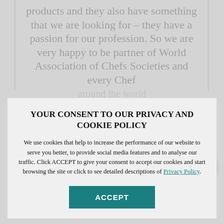products and they also have something that we are looking for – they have a passion for our profession. So we are very happy to be partner of World Association of Chefs Societies and every Chef
around the world
Chef Dissull... President,
YOUR CONSENT TO OUR PRIVACY AND COOKIE POLICY
We use cookies that help to increase the performance of our website to serve you better, to provide social media features and to analyse our traffic. Click ACCEPT to give your consent to accept our cookies and start browsing the site or click to see detailed descriptions of Privacy Policy.
ACCEPT
Hospitality